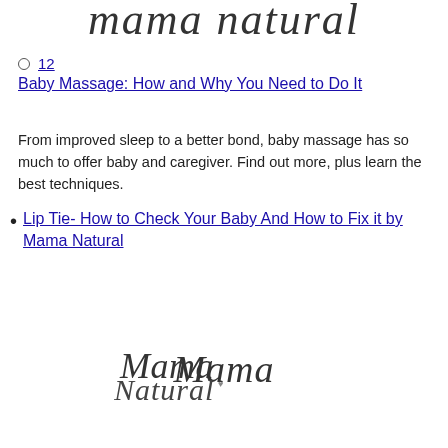[Figure (logo): Partial script/handwritten logo text at the top of the page, cut off]
12
Baby Massage: How and Why You Need to Do It
From improved sleep to a better bond, baby massage has so much to offer baby and caregiver. Find out more, plus learn the best techniques.
Lip Tie- How to Check Your Baby And How to Fix it by Mama Natural
[Figure (logo): Mama Natural script/handwritten logo in dark gray cursive font]